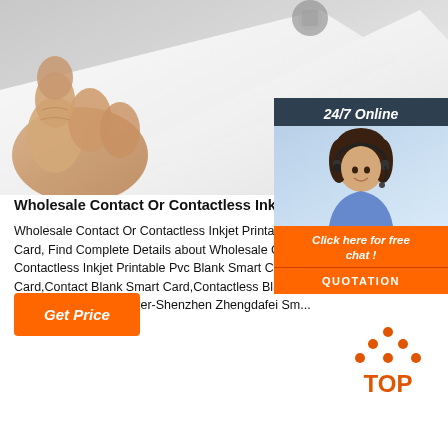[Figure (photo): Close-up photo of a hand holding a white PVC smart card, showing fingers and the card edge/corner. Gray and white tones.]
Wholesale Contact Or Contactless Inkjet Printable P...
Wholesale Contact Or Contactless Inkjet Printable P... Card, Find Complete Details about Wholesale Conta... Contactless Inkjet Printable Pvc Blank Smart Card,B... Card,Contact Blank Smart Card,Contactless Blank S... Supplier or Manufacturer-Shenzhen Zhengdafei Sm...
[Figure (photo): Overlay chat widget panel showing: '24/7 Online' header in dark navy background, photo of smiling female customer service agent with headset, 'Click here for free chat!' text in orange, and 'QUOTATION' button in orange.]
Get Price
[Figure (other): Orange 'TOP' icon with triangle/dots above text, indicating scroll-to-top button]